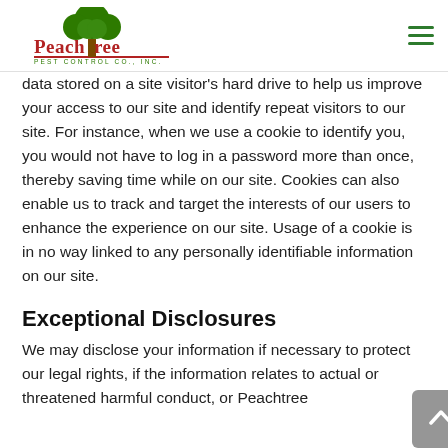Peachtree Pest Control Co., Inc.
data stored on a site visitor's hard drive to help us improve your access to our site and identify repeat visitors to our site. For instance, when we use a cookie to identify you, you would not have to log in a password more than once, thereby saving time while on our site. Cookies can also enable us to track and target the interests of our users to enhance the experience on our site. Usage of a cookie is in no way linked to any personally identifiable information on our site.
Exceptional Disclosures
We may disclose your information if necessary to protect our legal rights, if the information relates to actual or threatened harmful conduct, or Peachtree